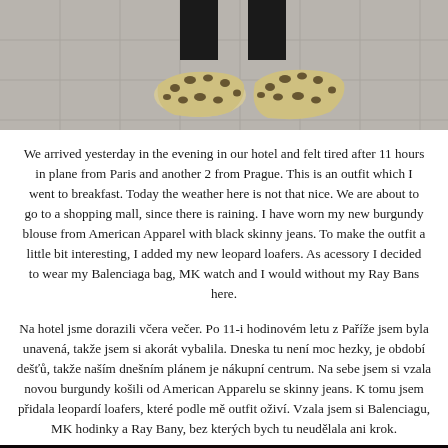[Figure (photo): Close-up photo of feet wearing leopard print loafers/flats on a tiled pavement surface. The person is wearing black pants/jeans. The background shows a light grey tiled floor.]
We arrived yesterday in the evening in our hotel and felt tired after 11 hours in plane from Paris and another 2 from Prague. This is an outfit which I went to breakfast. Today the weather here is not that nice. We are about to go to a shopping mall, since there is raining. I have worn my new burgundy blouse from American Apparel with black skinny jeans. To make the outfit a little bit interesting, I added my new leopard loafers. As acessory I decided to wear my Balenciaga bag, MK watch and I would without my Ray Bans here.
Na hotel jsme dorazili včera večer. Po 11-i hodinovém letu z Paříže jsem byla unavená, takže jsem si akorát vybalila. Dneska tu není moc hezky, je období dešťů, takže naším dnešním plánem je nákupní centrum. Na sebe jsem si vzala novou burgundy košili od American Apparelu se skinny jeans. K tomu jsem přidala leopardí loafers, které podle mě outfit oživí. Vzala jsem si Balenciagu, MK hodinky a Ray Bany, bez kterých bych tu neudělala ani krok.
[Figure (photo): Dark photo, mostly dark/black tones, appears to be a partial view of a person or clothing item, very dark and underexposed.]